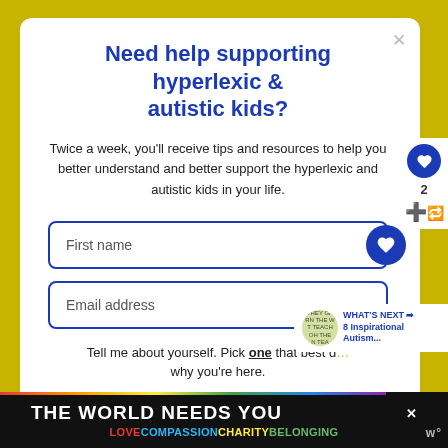Need help supporting hyperlexic & autistic kids?
Twice a week, you'll receive tips and resources to help you better understand and better support the hyperlexic and autistic kids in your life.
First name
Email address
Tell me about yourself. Pick one that best describes why you're here.
I'm a parent or grandparent
[Figure (infographic): WHAT'S NEXT arrow with thumbnail and text '8 Inspirational Autism...']
[Figure (infographic): Ad banner: THE WORLD NEEDS YOU — LOVE COMPASSION CHARITY BELONGING with rainbow colors and close button]